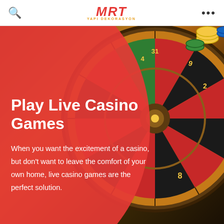MRT YAPI DEKORASYON
[Figure (photo): Casino roulette wheel close-up photo showing numbered wheel compartments with red and black sections, casino chips (yellow, green, blue) visible on a wooden table surface in the background.]
Play Live Casino Games
When you want the excitement of a casino, but don't want to leave the comfort of your own home, live casino games are the perfect solution.